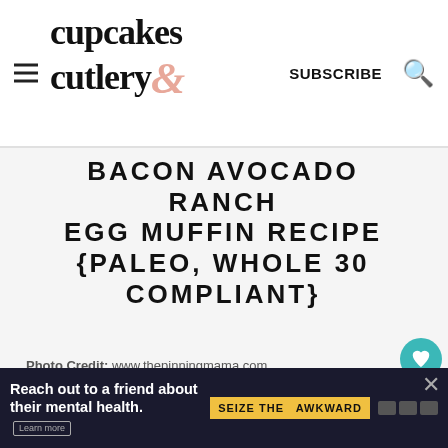cupcakes & cutlery — SUBSCRIBE
BACON AVOCADO RANCH EGG MUFFIN RECIPE {PALEO, WHOLE 30 COMPLIANT}
Photo Credit: www.thepinningmama.com
Easter is such a delicious holiday! These egg muffins sound like the perfect breakfast recipe.
CONTINUE READING
Reach out to a friend about their mental health. Learn more  SEIZE THE AWKWARD